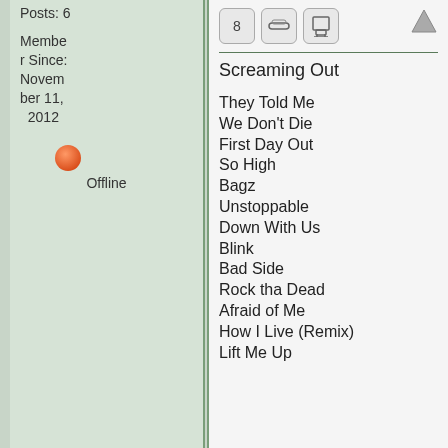Posts: 6
Member Since: November 11, 2012
[Figure (illustration): Red/orange circle icon indicating offline status]
Offline
8
Screaming Out
They Told Me
We Don't Die
First Day Out
So High
Bagz
Unstoppable
Down With Us
Blink
Bad Side
Rock tha Dead
Afraid of Me
How I Live (Remix)
Lift Me Up